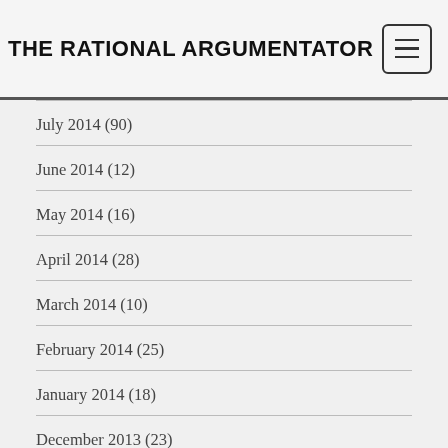THE RATIONAL ARGUMENTATOR
July 2014 (90)
June 2014 (12)
May 2014 (16)
April 2014 (28)
March 2014 (10)
February 2014 (25)
January 2014 (18)
December 2013 (23)
November 2013 (32)
October 2013 (17)